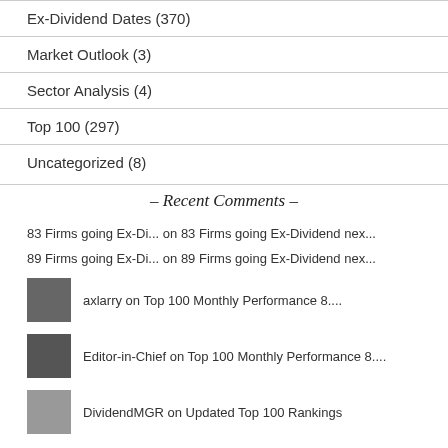Ex-Dividend Dates (370)
Market Outlook (3)
Sector Analysis (4)
Top 100 (297)
Uncategorized (8)
– Recent Comments –
83 Firms going Ex-Di... on 83 Firms going Ex-Dividend nex...
89 Firms going Ex-Di... on 89 Firms going Ex-Dividend nex...
axlarry on Top 100 Monthly Performance 8....
Editor-in-Chief on Top 100 Monthly Performance 8....
DividendMGR on Updated Top 100 Rankings